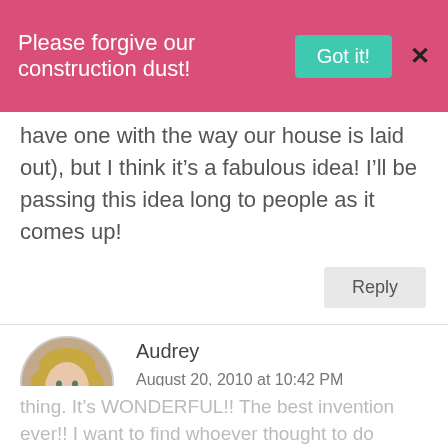Please forgive our construction dust! Got it! X
have one with the way our house is laid out), but I think it’s a fabulous idea! I’ll be passing this idea long to people as it comes up!
Reply
[Figure (photo): Round avatar photo of a young woman with blonde hair smiling]
Audrey
August 20, 2010 at 10:42 PM
Two things–
1) I have that same laundry sorter/hamper
thing. It’s WONDERFUL!! The best invention ever!! I want to find whoever thought to do